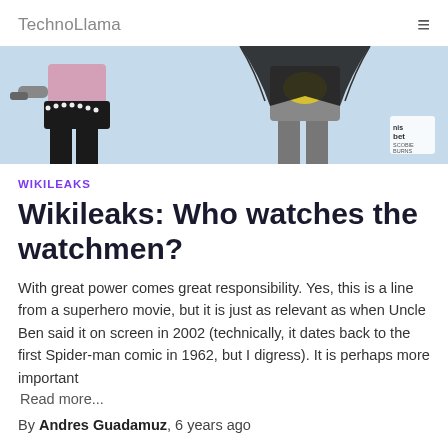TechnoLlama
[Figure (illustration): Cropped comic-book style illustration showing superhero characters in costume — a figure in pink/black on the left and a figure in grey/black on the right, against a light blue background. Small logo mark in bottom-right corner.]
WIKILEAKS
Wikileaks: Who watches the watchmen?
With great power comes great responsibility. Yes, this is a line from a superhero movie, but it is just as relevant as when Uncle Ben said it on screen in 2002 (technically, it dates back to the first Spider-man comic in 1962, but I digress). It is perhaps more important
Read more...
By Andres Guadamuz, 6 years ago